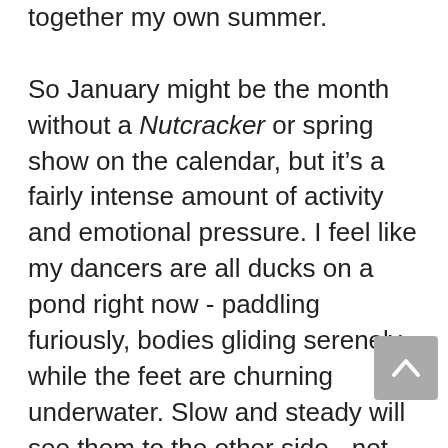together my own summer.

So January might be the month without a Nutcracker or spring show on the calendar, but it's a fairly intense amount of activity and emotional pressure. I feel like my dancers are all ducks on a pond right now - paddling furiously, bodies gliding serenely while the feet are churning underwater. Slow and steady will see them to the other side - not much to show while it's happening, but a whole lot of effort and patience to get there. So the next time you wonder why you're so tired or stressed or harried when there's "not much going on" this month, just remember how much you're really